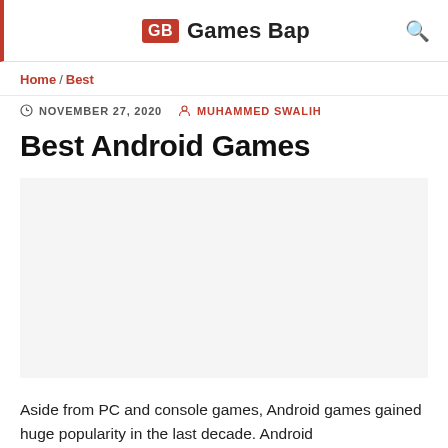GB Games Bap
Home / Best
NOVEMBER 27, 2020  MUHAMMED SWALIH
Best Android Games
[Figure (photo): Image placeholder area for Best Android Games article]
Aside from PC and console games, Android games gained huge popularity in the last decade. Android